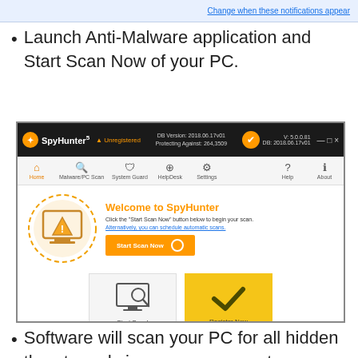[Figure (screenshot): Top portion of a browser/notification settings screenshot showing a blue link 'Change when these notifications appear']
Launch Anti-Malware application and Start Scan Now of your PC.
[Figure (screenshot): SpyHunter 5 application screenshot showing the Welcome screen with Start Scan Now button, SpyHunter logo, navigation bar, and two bottom cards: Start Scan! and Register Now]
Software will scan your PC for all hidden threats and viruses on your system.